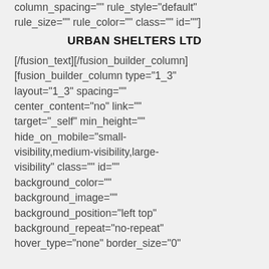column_spacing="" rule_style="default" rule_size="" rule_color="" class="" id=""]
URBAN SHELTERS LTD
[/fusion_text][/fusion_builder_column][fusion_builder_column type="1_3" layout="1_3" spacing="" center_content="no" link="" target="_self" min_height="" hide_on_mobile="small-visibility,medium-visibility,large-visibility" class="" id="" background_color="" background_image="" background_position="left top" background_repeat="no-repeat" hover_type="none" border_size="0"